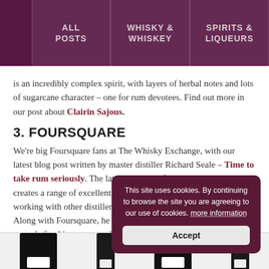ALL POSTS | WHISKY & WHISKEY | SPIRITS & LIQUEURS
is an incredibly complex spirit, with layers of herbal notes and lots of sugarcane character – one for rum devotees. Find out more in our post about Clairin Sajous.
3. FOURSQUARE
We're big Foursquare fans at The Whisky Exchange, with our latest blog post written by master distiller Richard Seale – Time to take rum seriously. The latest in a line of rum distillers, Richard creates a range of excellent rums produced without additives and is working with other distillers to push standards in rum production. Along with Foursquare, he also makes Doorly's and R.L Seale's, named after his mentor and father.
4. KILL DEVIL
[Figure (photo): Cookie consent popup overlay: 'This site uses cookies. By continuing to browse the site you are agreeing to our use of cookies. more information' with an Accept button.]
[Figure (photo): Bottom strip showing dark bottle silhouettes/product images.]